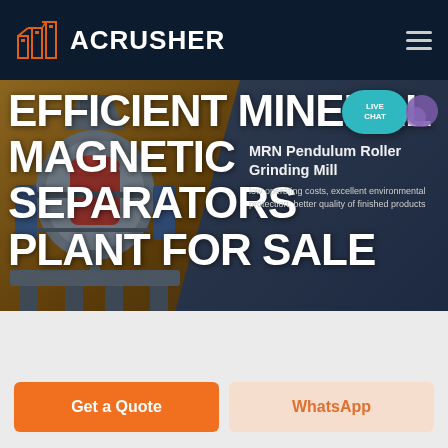ACRUSHER
EFFICIENT MINERAL MAGNETIC SEPARATORS PLANT FOR SALE
[Figure (screenshot): Screenshot of ACRUSHER website product page showing magnetic separator plant with navigation bar, hero image with industrial machine, product card for MRN Pendulum Roller Grinding Mill, live chat button, breadcrumb navigation, and CTA buttons.]
MRN Pendulum Roller Grinding Mill
low operating costs, excellent environmental protection, better quality of finished products
HOME / PRODUCTS
Get a Quote
WhatsApp